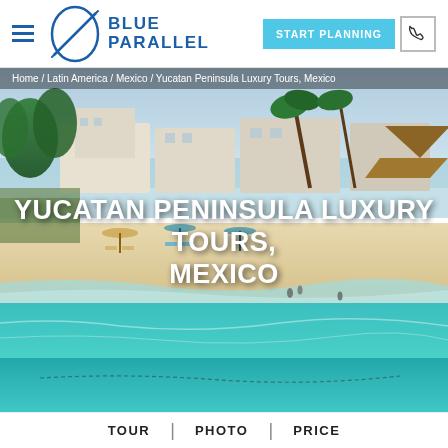Blue Parallel — START PLANNING
[Figure (photo): Aerial view of a luxury beach resort on the Yucatan Peninsula, Mexico. Turquoise Caribbean sea in the foreground, sandy beach with umbrellas and lounge chairs, palapa-roofed buildings, and lush tropical vegetation in the background.]
Home / Latin America / Mexico / Yucatan Peninsula Luxury Tours, Mexico
YUCATAN PENINSULA LUXURY TOURS, MEXICO
TOUR | PHOTO | PRICE